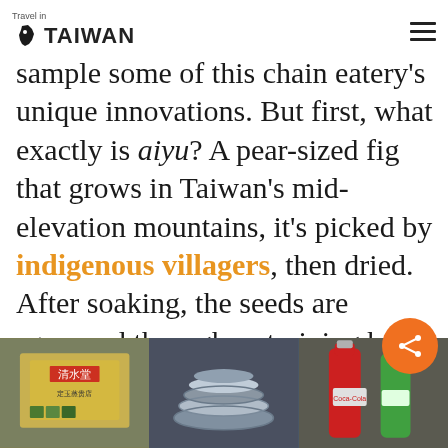Travel in TAIWAN
…especially if you want to sample some of this chain eatery's unique innovations. But first, what exactly is aiyu? A pear-sized fig that grows in Taiwan's mid-elevation mountains, it's picked by indigenous villagers, then dried. After soaking, the seeds are squeezed through a straining bag. The pectin thus released turns into a jelly with a mild yet pleasant taste.
[Figure (photo): Three photos side by side at the bottom of the page: left shows a sign for 清水堂 with Chinese characters, middle shows stacked bowls, right shows Coca-Cola and green bottles.]